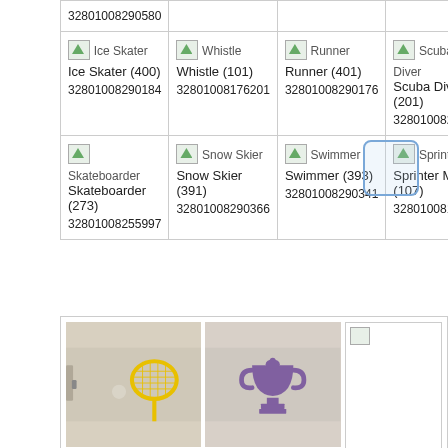| 32801008290580 |  |  |  |
| Ice Skater (400)
32801008290184 | Whistle (101)
32801008176201 | Runner (401)
32801008290176 | Scuba Diver (201)
32801008231... |
| Skateboarder (273)
32801008255997 | Snow Skier (391)
32801008290366 | Swimmer (393)
32801008290341 | Sprinter Male (107)
328010081762... |
[Figure (photo): Photo of yellow tennis racket on door]
[Figure (photo): Photo of purple trophy on wall]
[Figure (photo): Broken image placeholder]